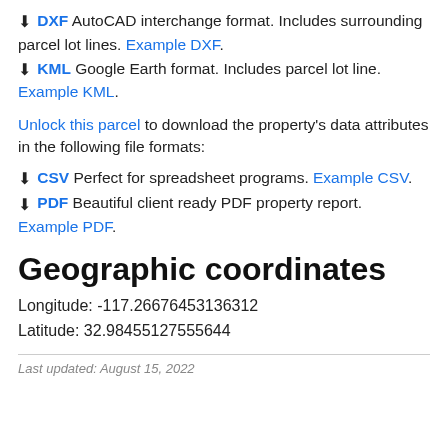⬇ DXF AutoCAD interchange format. Includes surrounding parcel lot lines. Example DXF.
⬇ KML Google Earth format. Includes parcel lot line. Example KML.
Unlock this parcel to download the property's data attributes in the following file formats:
⬇ CSV Perfect for spreadsheet programs. Example CSV.
⬇ PDF Beautiful client ready PDF property report. Example PDF.
Geographic coordinates
Longitude: -117.26676453136312
Latitude: 32.98455127555644
Last updated: August 15, 2022